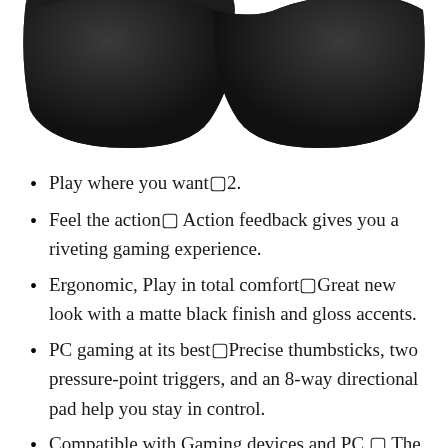[Figure (photo): Top-down view of a black wireless game controller, showing the two grip handles (left and right) from above, with matte black finish. Only the grips/bottom portion visible, cropped.]
Play where you want 2.
Feel the action  Action feedback gives you a riveting gaming experience.
Ergonomic, Play in total comfort Great new look with a matte black finish and gloss accents.
PC gaming at its best Precise thumbsticks, two pressure-point triggers, and an 8-way directional pad help you stay in control.
Compatible with Gaming devices and PC   The Wireless Controller Compatible with Gaming devices and Windows 7 and 8 and 10PC, Delivering a Consistent and Universal Gaming Experience